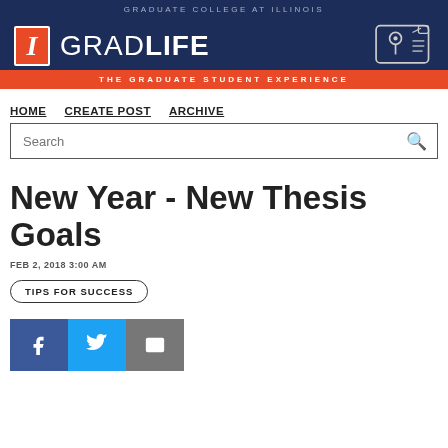GRADUATE COLLEGE AT ILLINOIS
[Figure (logo): I GRAD LIFE logo with University of Illinois block I and decorative icon on dark navy background]
THE GRADUATE STUDENT EXPERIENCE
HOME   CREATE POST   ARCHIVE
Search
New Year - New Thesis Goals
FEB 2, 2018 3:00 AM
TIPS FOR SUCCESS
[Figure (infographic): Social share buttons: Facebook (blue), Twitter (cyan), Email (gray)]